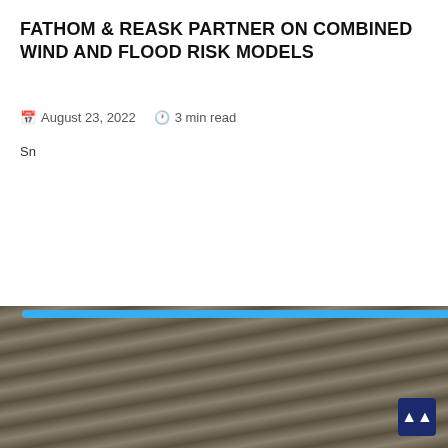FATHOM & REASK PARTNER ON COMBINED WIND AND FLOOD RISK MODELS
August 23, 2022   3 min read
Sn
[Figure (screenshot): A broken image placeholder showing the path /images/wi... icon.svg on a blue rounded rectangle background, overlaid on a photo of waves/flood water. A dark blue scroll-to-top button is visible in the bottom right corner.]